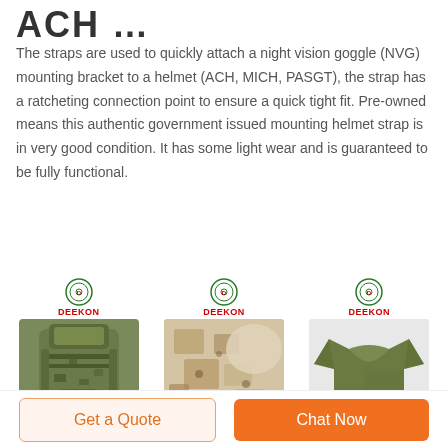ACH …
The straps are used to quickly attach a night vision goggle (NVG) mounting bracket to a helmet (ACH, MICH, PASGT), the strap has a ratcheting connection point to ensure a quick tight fit. Pre-owned means this authentic government issued mounting helmet strap is in very good condition. It has some light wear and is guaranteed to be fully functional.
[Figure (photo): Three product images from DEEKON brand: a camouflage military backpack, a desert camouflage fabric swatch, and an olive green t-shirt, each with DEEKON logo above.]
Get a Quote
Chat Now